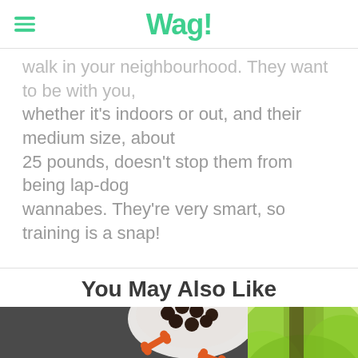Wag!
walk in your neighbourhood. They want to be with you, whether it's indoors or out, and their medium size, about 25 pounds, doesn't stop them from being lap-dog wannabes. They're very smart, so training is a snap!
You May Also Like
[Figure (photo): Overhead view of dog kibble in white bowl with orange bone-shaped treats scattered on dark surface]
[Figure (photo): Outdoor scene with green grass and trees in soft focus background]